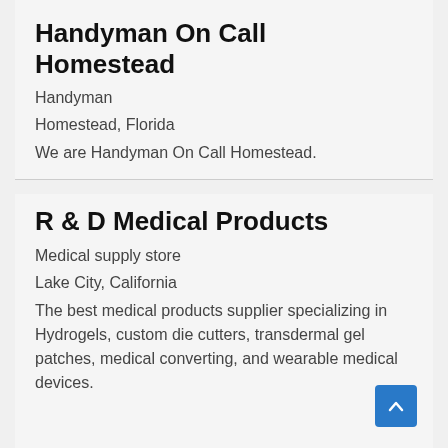Handyman On Call Homestead
Handyman
Homestead, Florida
We are Handyman On Call Homestead.
R & D Medical Products
Medical supply store
Lake City, California
The best medical products supplier specializing in Hydrogels, custom die cutters, transdermal gel patches, medical converting, and wearable medical devices.